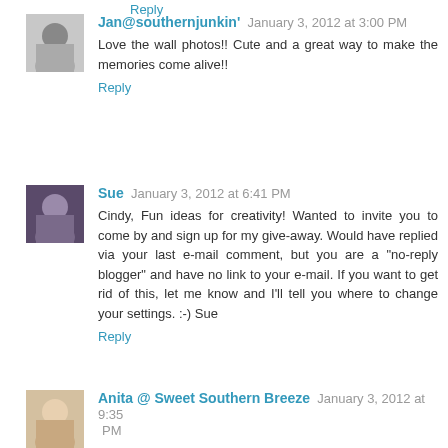Reply
Jan@southernjunkin' January 3, 2012 at 3:00 PM
Love the wall photos!! Cute and a great way to make the memories come alive!!
Reply
Sue January 3, 2012 at 6:41 PM
Cindy, Fun ideas for creativity! Wanted to invite you to come by and sign up for my give-away. Would have replied via your last e-mail comment, but you are a "no-reply blogger" and have no link to your e-mail. If you want to get rid of this, let me know and I'll tell you where to change your settings. :-) Sue
Reply
Anita @ Sweet Southern Breeze January 3, 2012 at 9:35 PM